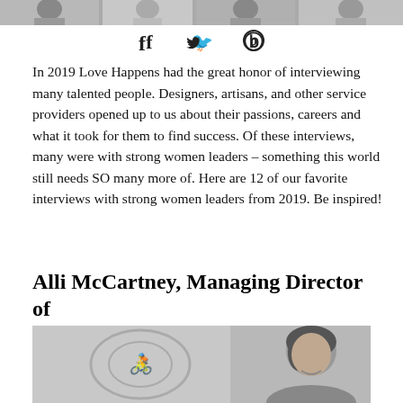[Figure (photo): Horizontal strip of multiple portrait photos of people at the top of the page]
[Figure (other): Social media icons: Facebook (f), Twitter (bird), Pinterest (p) in a horizontal row]
In 2019 Love Happens had the great honor of interviewing many talented people. Designers, artisans, and other service providers opened up to us about their passions, careers and what it took for them to find success. Of these interviews, many were with strong women leaders – something this world still needs SO many more of. Here are 12 of our favorite interviews with strong women leaders from 2019. Be inspired!
Alli McCartney, Managing Director of UBS Alignment Partners
[Figure (photo): Black and white portrait photo of Alli McCartney, a woman with dark hair, smiling, with a decorative monogram visible in background]